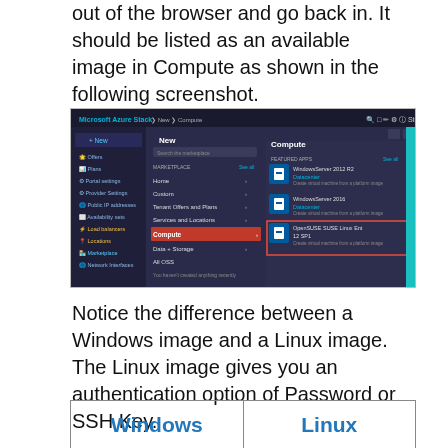out of the browser and go back in. It should be listed as an available image in Compute as shown in the following screenshot.
[Figure (screenshot): Microsoft Azure Stack portal showing Compute menu with FEATURED APPS including WindowsServer 2012 R2 Datacenter, WindowsServer 2016 Datacenter, and OpenSUSE SUSE Linux Ent 12 SP1 highlighted in a red box.]
Notice the difference between a Windows image and a Linux image. The Linux image gives you an authentication option of Password or SSH Key.
| Windows | Linux |
| --- | --- |